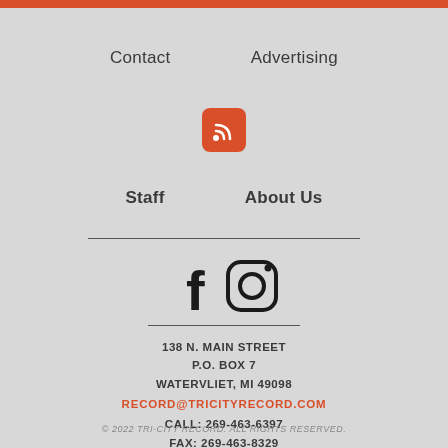Contact
Advertising
[Figure (illustration): RSS feed icon - white wifi-like symbol on orange/red rounded square background]
Staff
About Us
[Figure (illustration): Facebook and Instagram social media icons in black]
138 N. MAIN STREET
P.O. BOX 7
WATERVLIET, MI 49098
RECORD@TRICITYRECORD.COM
CALL: 269-463-6397
FAX: 269-463-8329
© 2022 TRI-CITY RECORD. ALL RIGHTS RESERVED.